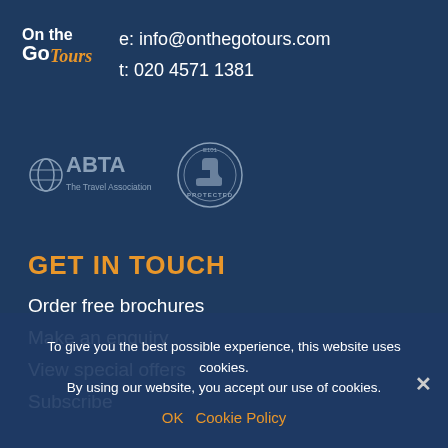[Figure (logo): On the Go Tours logo — white bold text 'On the Go' with orange italic 'Tours']
e: info@onthegotours.com
t: 020 4571 1381
[Figure (logo): ABTA The Travel Association logo and a circular ATOL Protected badge]
GET IN TOUCH
Order free brochures
Make an enquiry
View special offers
Subscribe
To give you the best possible experience, this website uses cookies. By using our website, you accept our use of cookies.
OK   Cookie Policy